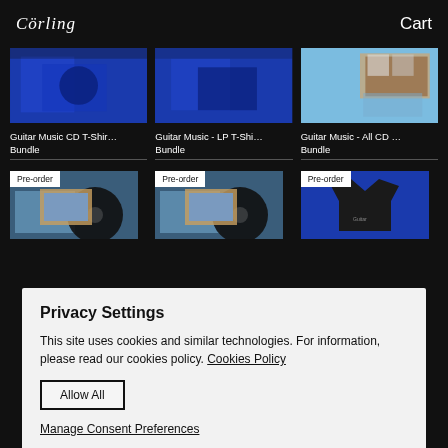Cörling  Cart
[Figure (photo): Guitar Music CD T-Shirt Bundle product image on blue background]
[Figure (photo): Guitar Music LP T-Shirt Bundle product image on blue background]
[Figure (photo): Guitar Music All CD Bundle product image on blue background with CDs]
Guitar Music CD T-Shir... Bundle
Guitar Music - LP T-Shi... Bundle
Guitar Music - All CD ... Bundle
[Figure (photo): Pre-order vinyl record product with album art showing desert landscape]
[Figure (photo): Pre-order vinyl record product with album art showing desert landscape]
[Figure (photo): Pre-order black t-shirt product on blue background]
Privacy Settings
This site uses cookies and similar technologies. For information, please read our cookies policy. Cookies Policy
Allow All
Manage Consent Preferences